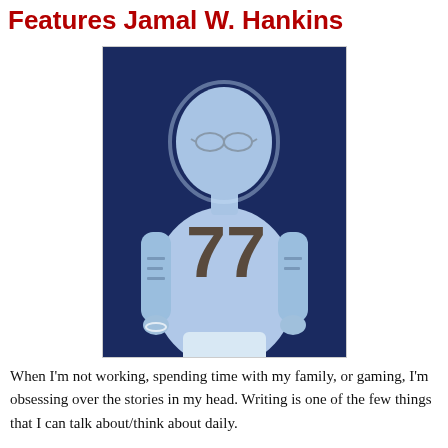Features Jamal W. Hankins
[Figure (photo): A man wearing a white t-shirt with the number 77, shown with a blue-toned inverted/negative photographic effect against a dark blue background. He appears to have tattoos on his arms and is wearing glasses.]
When I'm not working, spending time with my family, or gaming, I'm obsessing over the stories in my head. Writing is one of the few things that I can talk about/think about daily.